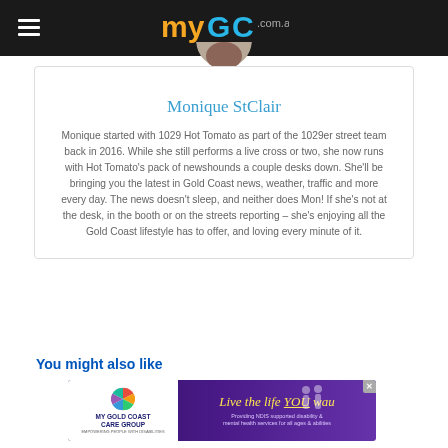myGC.com.au
[Figure (photo): Circular profile photo of Monique StClair, partially cropped at top]
Monique StClair
Monique started with 1029 Hot Tomato as part of the 1029er street team back in 2016. While she still performs a live cross or two, she now runs with Hot Tomato's pack of newshounds a couple desks down. She'll be bringing you the latest in Gold Coast news, weather, traffic and more every day. The news doesn't sleep, and neither does Mon! If she's not at the desk, in the booth or on the streets reporting – she's enjoying all the Gold Coast lifestyle has to offer, and loving every minute of it.
You might also like
[Figure (infographic): Advertisement banner for My Gold Coast Care Group: 'Live the life YOU want' — Providing NDIS supported disability & mental health services for all ages & abilities]